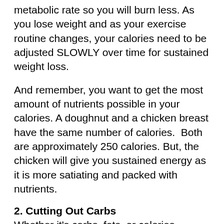metabolic rate so you will burn less. As you lose weight and as your exercise routine changes, your calories need to be adjusted SLOWLY over time for sustained weight loss.
And remember, you want to get the most amount of nutrients possible in your calories. A doughnut and a chicken breast have the same number of calories.  Both are approximately 250 calories. But, the chicken will give you sustained energy as it is more satiating and packed with nutrients.
2. Cutting Out Carbs
Whether it's carbs, fats, or calories, cutting out these things can cause the exact things you're trying to avoid (fat storage and a weakened metabolism). Going on a low carb diet may cause fast weight loss initially, but 70-80% of that loss is actually just WATER loss, not fat